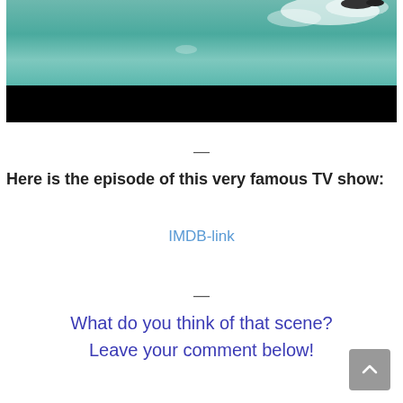[Figure (photo): Ocean water scene with waves and foam at top, black bar below representing a video player or letterbox area]
—
Here is the episode of this very famous TV show:
IMDB-link
—
What do you think of that scene?
Leave your comment below!